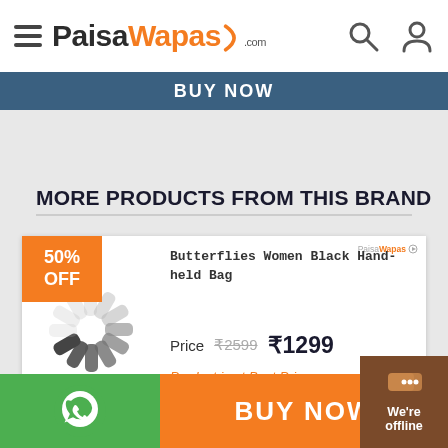PaisaWapas.com
BUY NOW
MORE PRODUCTS FROM THIS BRAND
[Figure (screenshot): Product card for Butterflies Women Black Hand-held Bag with 50% OFF badge, loading spinner image, price ₹1299 (original ₹2599), and 'Product is at Best Price' text in orange]
BUY NOW
BUY NOW
We're offline